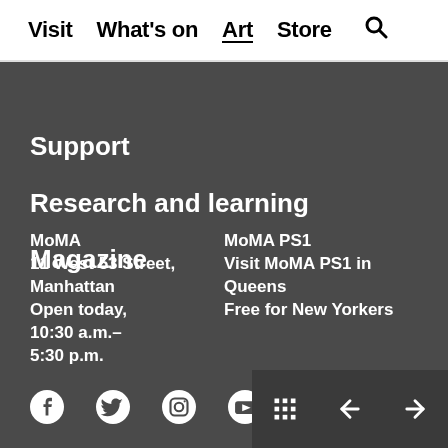Visit  What's on  Art  Store  🔍
Support
Research and learning
Magazine
MoMA
11 West 53 Street,
Manhattan
Open today,
10:30 a.m.–
5:30 p.m.
MoMA PS1
Visit MoMA PS1 in Queens
Free for New Yorkers
[Figure (other): Social media icons: Facebook, Twitter, Instagram, YouTube; and navigation controls (grid, back arrow, forward arrow)]